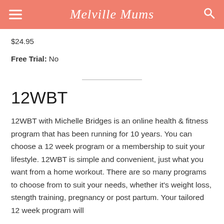Melville Mums
$24.95
Free Trial: No
12WBT
12WBT with Michelle Bridges is an online health & fitness program that has been running for 10 years. You can choose a 12 week program or a membership to suit your lifestyle. 12WBT is simple and convenient, just what you want from a home workout. There are so many programs to choose from to suit your needs, whether it's weight loss, stength training, pregnancy or post partum. Your tailored 12 week program will